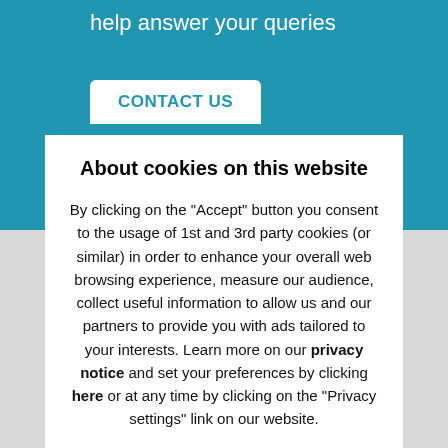help answer your queries
CONTACT US
About cookies on this website
By clicking on the "Accept" button you consent to the usage of 1st and 3rd party cookies (or similar) in order to enhance your overall web browsing experience, measure our audience, collect useful information to allow us and our partners to provide you with ads tailored to your interests. Learn more on our privacy notice and set your preferences by clicking here or at any time by clicking on the "Privacy settings" link on our website.
Decline
Accept